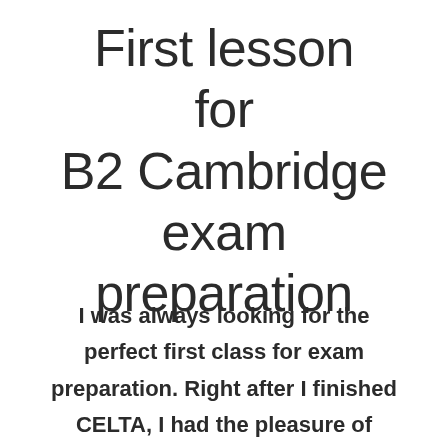First lesson for B2 Cambridge exam preparation
I was always looking for the perfect first class for exam preparation. Right after I finished CELTA, I had the pleasure of teaching B1 and B2 Cambridge intensive summer courses. As I